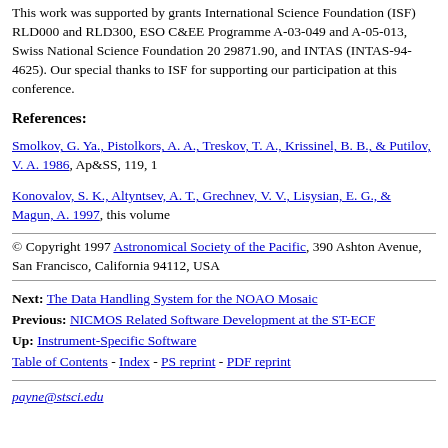This work was supported by grants International Science Foundation (ISF) RLD000 and RLD300, ESO C&EE Programme A-03-049 and A-05-013, Swiss National Science Foundation 20 29871.90, and INTAS (INTAS-94-4625). Our special thanks to ISF for supporting our participation at this conference.
References:
Smolkov, G. Ya., Pistolkors, A. A., Treskov, T. A., Krissinel, B. B., & Putilov, V. A. 1986, Ap&SS, 119, 1
Konovalov, S. K., Altyntsev, A. T., Grechnev, V. V., Lisysian, E. G., & Magun, A. 1997, this volume
© Copyright 1997 Astronomical Society of the Pacific, 390 Ashton Avenue, San Francisco, California 94112, USA
Next: The Data Handling System for the NOAO Mosaic
Previous: NICMOS Related Software Development at the ST-ECF
Up: Instrument-Specific Software
Table of Contents - Index - PS reprint - PDF reprint
payne@stsci.edu